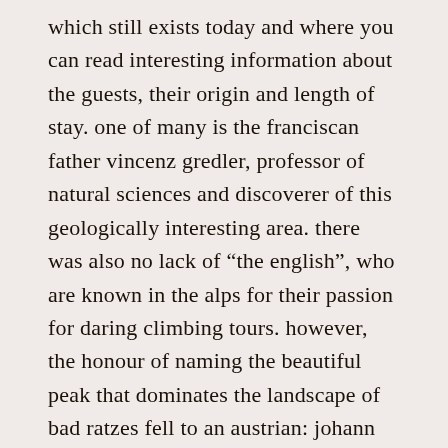which still exists today and where you can read interesting information about the guests, their origin and length of stay. one of many is the franciscan father vincenz gredler, professor of natural sciences and discoverer of this geologically interesting area. there was also no lack of “the english”, who are known in the alps for their passion for daring climbing tours. however, the honour of naming the beautiful peak that dominates the landscape of bad ratzes fell to an austrian: johann santner. he was the first one to reach the summit in 1880, which has been called punta santner ever since.
THE MINERAL SPRINGS
the healing springs can be reached from bad ratzes